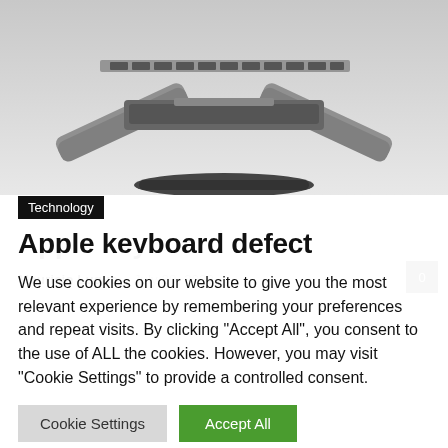[Figure (photo): Close-up photo of Apple keyboard mechanism / butterfly switch hardware, shown in grayscale with metallic components visible.]
Technology
Apple keyboard defect
Mauricio Luque  –  July 20, 2022
We use cookies on our website to give you the most relevant experience by remembering your preferences and repeat visits. By clicking "Accept All", you consent to the use of ALL the cookies. However, you may visit "Cookie Settings" to provide a controlled consent.
Cookie Settings   Accept All